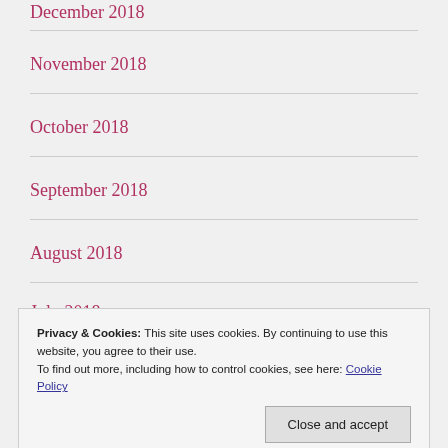December 2018
November 2018
October 2018
September 2018
August 2018
July 2018
Privacy & Cookies: This site uses cookies. By continuing to use this website, you agree to their use.
To find out more, including how to control cookies, see here: Cookie Policy
April 2018